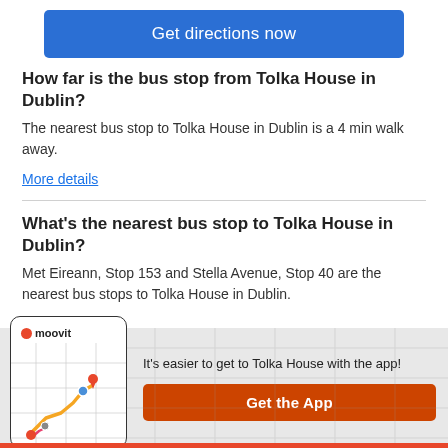Get directions now
How far is the bus stop from Tolka House in Dublin?
The nearest bus stop to Tolka House in Dublin is a 4 min walk away.
More details
What's the nearest bus stop to Tolka House in Dublin?
Met Eireann, Stop 153 and Stella Avenue, Stop 40 are the nearest bus stops to Tolka House in Dublin.
More details
[Figure (screenshot): Moovit app screenshot on phone showing route map with colored lines and location pins]
It's easier to get to Tolka House with the app!
Get the App